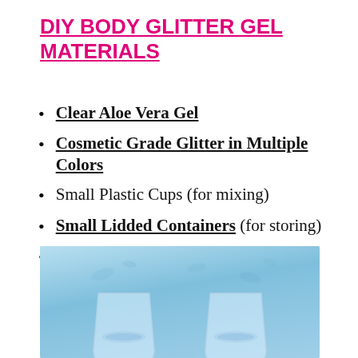DIY BODY GLITTER GEL MATERIALS
Clear Aloe Vera Gel
Cosmetic Grade Glitter in Multiple Colors
Small Plastic Cups (for mixing)
Small Lidded Containers (for storing)
Wooden Stick or Spoon (for stirring)
[Figure (photo): Photo of small clear plastic cups with glitter contents on a blue background]